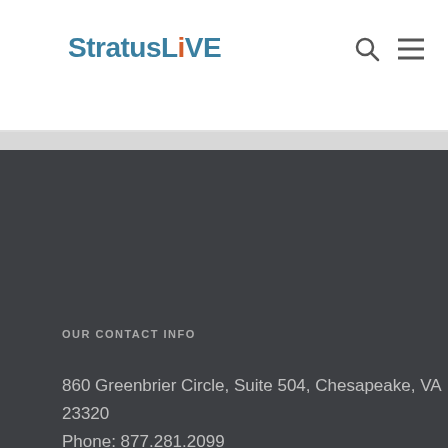[Figure (logo): StratusLIVE logo with teal text and orange 'i']
[Figure (other): Search and hamburger menu icons]
OUR CONTACT INFO
860 Greenbrier Circle, Suite 504, Chesapeake, VA 23320
Phone: 877.281.2099
Email: info@stratuslive.com
FOLLOW US ON SOCIAL
[Figure (other): Social media icons: Instagram, Facebook, Twitter, LinkedIn]